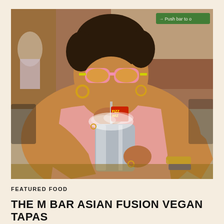[Figure (photo): A person wearing pink cat-eye sunglasses and a pink sleeveless top sitting outdoors at a wooden table, drinking from a silver metallic cup with a straw. The cup has dry ice smoke coming out. The person wears hoop earrings and bracelets. In the background there is a brick wall, outdoor seating, and a green push-bar door sign. Another person in a white sleeveless top is visible in the background.]
FEATURED FOOD
THE M BAR ASIAN FUSION VEGAN TAPAS